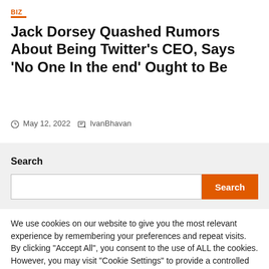BIZ
Jack Dorsey Quashed Rumors About Being Twitter's CEO, Says 'No One In the end' Ought to Be
May 12, 2022   IvanBhavan
Search
We use cookies on our website to give you the most relevant experience by remembering your preferences and repeat visits. By clicking "Accept All", you consent to the use of ALL the cookies. However, you may visit "Cookie Settings" to provide a controlled consent.